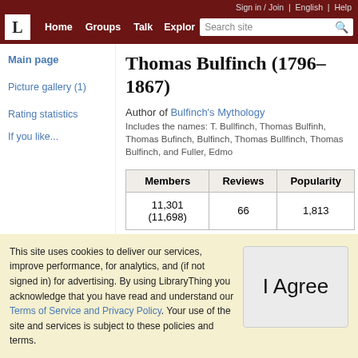Sign in / Join  English  Help  Home  Groups  Talk  Explore  Search site
Thomas Bulfinch (1796–1867)
Author of Bulfinch's Mythology
Includes the names: T. Bullfinch, Thomas Bulfinh, Thomas Bufinch, Thomas Bullfinch, Thomas Bulfinch, and Fuller, Edmund
Main page
Picture gallery (1)
Rating statistics
If you like...
| Members | Reviews | Popularity |
| --- | --- | --- |
| 11,301 (11,698) | 66 | 1,813 |
This site uses cookies to deliver our services, improve performance, for analytics, and (if not signed in) for advertising. By using LibraryThing you acknowledge that you have read and understand our Terms of Service and Privacy Policy. Your use of the site and services is subject to these policies and terms.